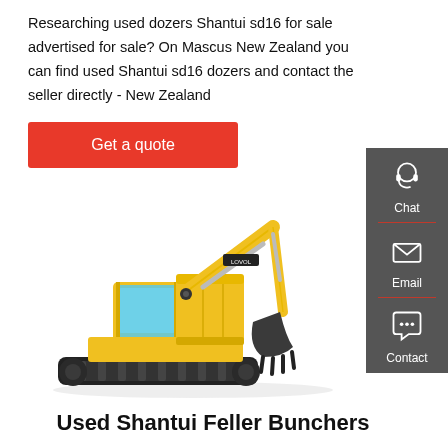Researching used dozers Shantui sd16 for sale advertised for sale? On Mascus New Zealand you can find used Shantui sd16 dozers and contact the seller directly - New Zealand
Get a quote
[Figure (photo): Yellow Lovol excavator/crawler excavator on white background]
Chat
Email
Contact
Used Shantui Feller Bunchers